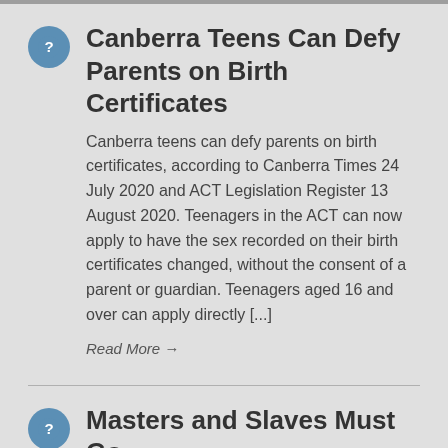Canberra Teens Can Defy Parents on Birth Certificates
Canberra teens can defy parents on birth certificates, according to Canberra Times 24 July 2020 and ACT Legislation Register 13 August 2020. Teenagers in the ACT can now apply to have the sex recorded on their birth certificates changed, without the consent of a parent or guardian. Teenagers aged 16 and over can apply directly [...]
Read More →
Masters and Slaves Must Go